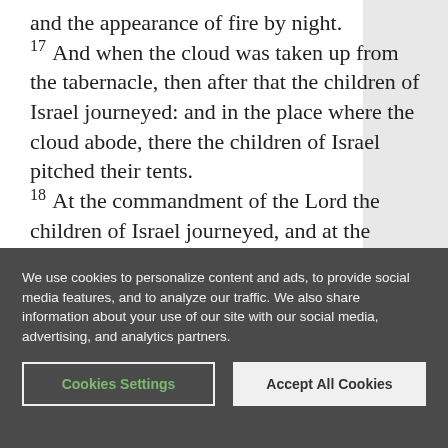and the appearance of fire by night. 17 And when the cloud was taken up from the tabernacle, then after that the children of Israel journeyed: and in the place where the cloud abode, there the children of Israel pitched their tents. 18 At the commandment of the Lord the children of Israel journeyed, and at the commandment of the Lord they pitched: as long as the cloud abode upon the tabernacle they rested in their tents. 19 And when the cloud tarried long upon the tabernacle many days, then the children of Israel
We use cookies to personalize content and ads, to provide social media features, and to analyze our traffic. We also share information about your use of our site with our social media, advertising, and analytics partners.
Cookies Settings
Accept All Cookies